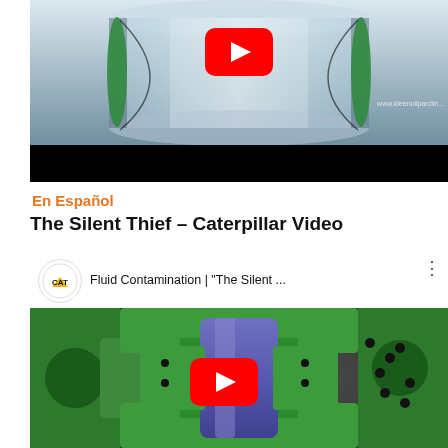[Figure (screenshot): YouTube video thumbnail showing a 3D rendered transparent cylindrical/glass mechanical component with green seals, on a light blue-grey background. A red YouTube play button is centered. Watermark text 'www.kleenoilparclin...' visible at bottom right. Black bar at bottom.]
En Español
The Silent Thief – Caterpillar Video
[Figure (screenshot): YouTube video embed showing CAT (Caterpillar) channel. Header bar shows CAT logo (circular, white background with yellow triangle and black text), title 'Fluid Contamination | "The Silent ...', and a three-dots menu icon. Main video area shows a 3D rendered mechanical component with green and purple/blue parts (hydraulic joint or similar), depicting fluid contamination. A red YouTube play button is centered at bottom.]